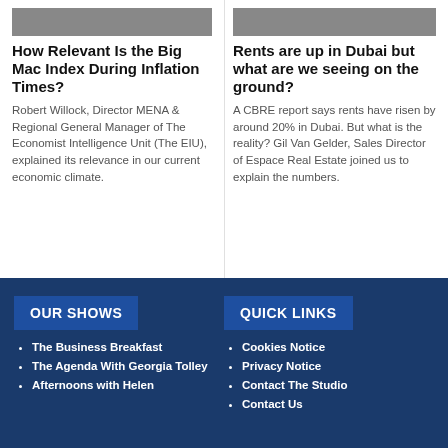[Figure (photo): Two small thumbnail photos of people, left column top]
How Relevant Is the Big Mac Index During Inflation Times?
Robert Willock, Director MENA & Regional General Manager of The Economist Intelligence Unit (The EIU), explained its relevance in our current economic climate.
[Figure (photo): Two small thumbnail photos of people, right column top]
Rents are up in Dubai but what are we seeing on the ground?
A CBRE report says rents have risen by around 20% in Dubai. But what is the reality? Gil Van Gelder, Sales Director of Espace Real Estate joined us to explain the numbers.
OUR SHOWS
The Business Breakfast
The Agenda With Georgia Tolley
Afternoons with Helen
QUICK LINKS
Cookies Notice
Privacy Notice
Contact The Studio
Contact Us